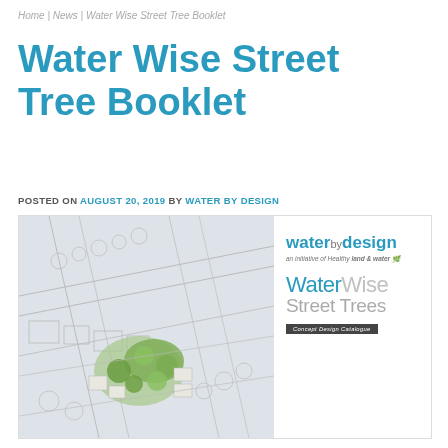Home | News | Water Wise Street Tree Booklet
Water Wise Street Tree Booklet
POSTED ON AUGUST 20, 2019 BY WATER BY DESIGN
[Figure (illustration): Cover image of the Water Wise Street Trees Concept Design Catalogue showing an aerial architectural plan sketch of a street with trees on the left, and the Water by Design logo and WaterWise Street Trees branding on the right.]